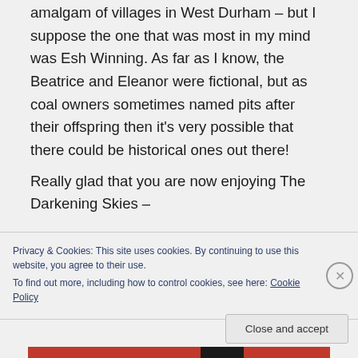amalgam of villages in West Durham – but I suppose the one that was most in my mind was Esh Winning. As far as I know, the Beatrice and Eleanor were fictional, but as coal owners sometimes named pits after their offspring then it's very possible that there could be historical ones out there!
Really glad that you are now enjoying The Darkening Skies –
Privacy & Cookies: This site uses cookies. By continuing to use this website, you agree to their use.
To find out more, including how to control cookies, see here: Cookie Policy
Close and accept